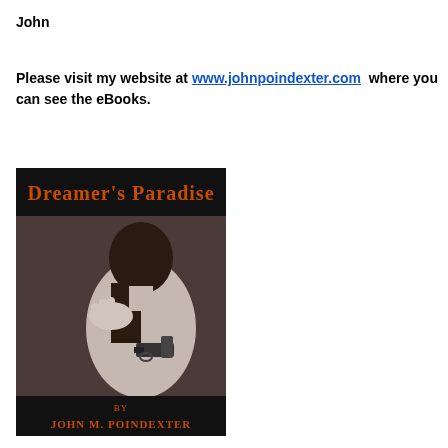John
Please visit my website at www.johnpoindexter.com  where you can see the eBooks.
[Figure (illustration): Book cover for 'Dreamer's Paradise' by John M. Poindexter. Black cover with orange stylized title text at top. Below is a black and white photo of a woman's bare back with a hand on her shoulder and a gun pointed at her back. Bottom banner reads 'by John M. Poindexter' in orange text.]